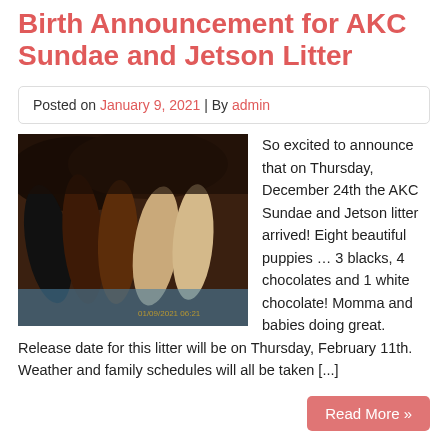Birth Announcement for AKC Sundae and Jetson Litter
Posted on January 9, 2021 | By admin
[Figure (photo): Photo of newborn Labrador puppies nursing, showing dark brown, black, and light/cream colored puppies huddled together on a blue surface. A timestamp watermark is visible in the lower right corner.]
So excited to announce that on Thursday, December 24th the AKC Sundae and Jetson litter arrived! Eight beautiful puppies … 3 blacks, 4 chocolates and 1 white chocolate! Momma and babies doing great. Release date for this litter will be on Thursday, February 11th. Weather and family schedules will all be taken [...]
Read More »